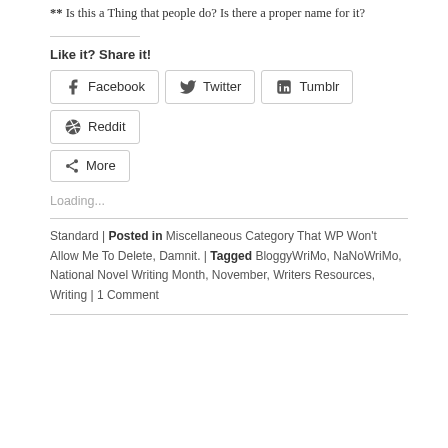** Is this a Thing that people do? Is there a proper name for it?
Like it? Share it!
[Figure (infographic): Social share buttons: Facebook, Twitter, Tumblr, Reddit, More]
Loading...
Standard | Posted in Miscellaneous Category That WP Won't Allow Me To Delete, Damnit. | Tagged BloggyWriMo, NaNoWriMo, National Novel Writing Month, November, Writers Resources, Writing | 1 Comment